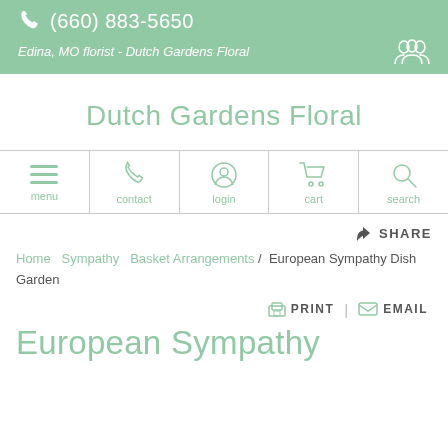(660) 883-5650
Edina, MO florist - Dutch Gardens Floral
Dutch Gardens Floral
[Figure (screenshot): Navigation bar with icons: menu, contact, login, cart, search]
SHARE
Home  Sympathy  Basket Arrangements /  European Sympathy Dish Garden
PRINT  |  EMAIL
European Sympathy